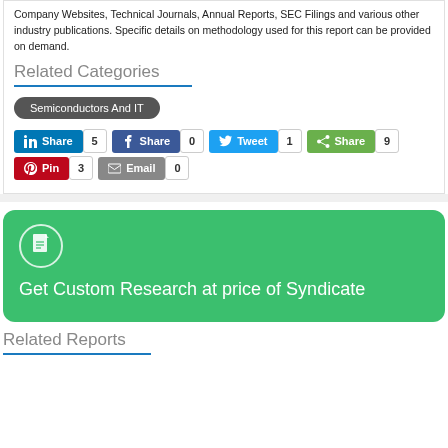Company Websites, Technical Journals, Annual Reports, SEC Filings and various other industry publications. Specific details on methodology used for this report can be provided on demand.
Related Categories
Semiconductors And IT
[Figure (infographic): Social share buttons: LinkedIn Share 5, Facebook Share 0, Twitter Tweet 1, ShareThis Share 9, Pinterest Pin 3, Email 0]
[Figure (infographic): Green card with document icon and text: Get Custom Research at price of Syndicate]
Related Reports